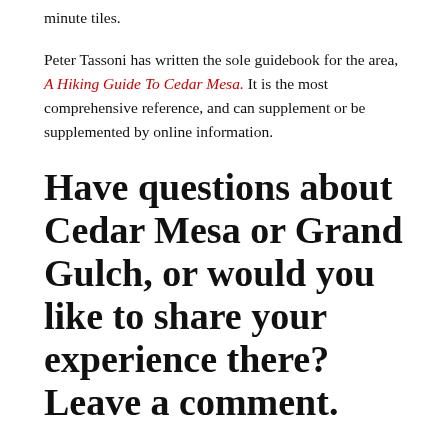minute tiles.
Peter Tassoni has written the sole guidebook for the area, A Hiking Guide To Cedar Mesa. It is the most comprehensive reference, and can supplement or be supplemented by online information.
Have questions about Cedar Mesa or Grand Gulch, or would you like to share your experience there? Leave a comment.
Disclosure. I strive to offer field-tested and trustworthy information, insights, and advice. I have no financial